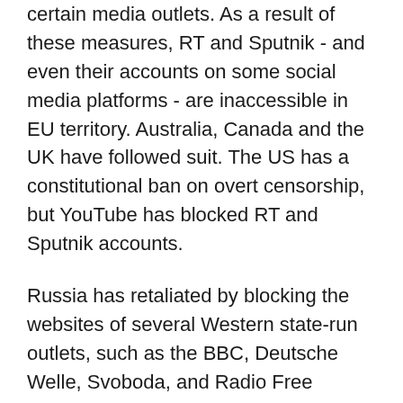certain media outlets. As a result of these measures, RT and Sputnik - and even their accounts on some social media platforms - are inaccessible in EU territory. Australia, Canada and the UK have followed suit. The US has a constitutional ban on overt censorship, but YouTube has blocked RT and Sputnik accounts.
Russia has retaliated by blocking the websites of several Western state-run outlets, such as the BBC, Deutsche Welle, Svoboda, and Radio Free Europe/Radio Liberty. Earlier this month, Moscow has